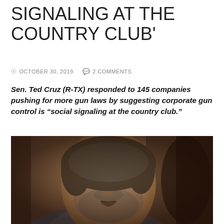SIGNALING AT THE COUNTRY CLUB'
OCTOBER 30, 2019   2 COMMENTS
Sen. Ted Cruz (R-TX) responded to 145 companies pushing for more gun laws by suggesting corporate gun control is "social signaling at the country club."
[Figure (photo): Close-up photo of Sen. Ted Cruz speaking, wearing a suit, with a beard, brown/warm background]